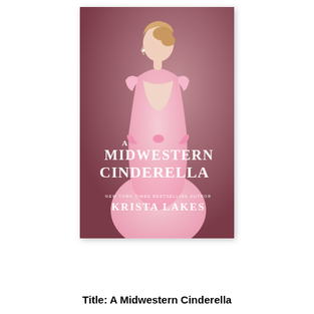[Figure (illustration): Book cover for 'A Midwestern Cinderella' by Krista Lakes (New York Times Bestselling Author). Shows a young blonde woman in a pink lace dress viewed from behind/side, against a dusty rose/mauve background. Large white serif text reads 'A MIDWESTERN CINDERELLA' in the lower portion of the cover.]
Title: A Midwestern Cinderella